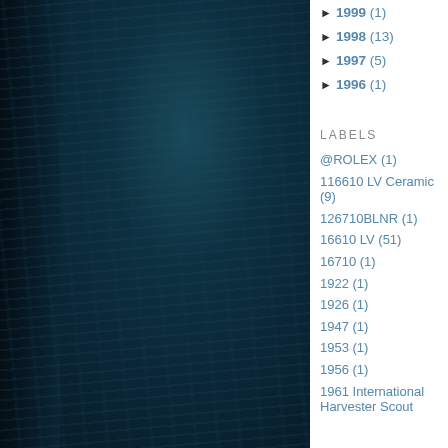[Figure (photo): Close-up photograph of dark teal/green knit or fabric texture with vertical ribbing pattern. Dark navy area on the left edge, possibly a jacket lapel.]
► 1999 (1)
► 1998 (13)
► 1997 (5)
► 1996 (1)
LABELS
@ROLEX (1)
116610 LV Ceramic (9)
126710BLNR (1)
16610 LV (51)
16710 (1)
1922 (1)
1926 (1)
1947 (1)
1953 (1)
1956 (1)
1961 International Harvester Scout